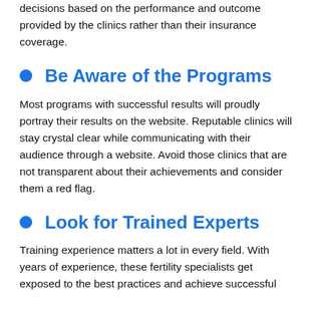decisions based on the performance and outcome provided by the clinics rather than their insurance coverage.
Be Aware of the Programs
Most programs with successful results will proudly portray their results on the website. Reputable clinics will stay crystal clear while communicating with their audience through a website. Avoid those clinics that are not transparent about their achievements and consider them a red flag.
Look for Trained Experts
Training experience matters a lot in every field. With years of experience, these fertility specialists get exposed to the best practices and achieve successful